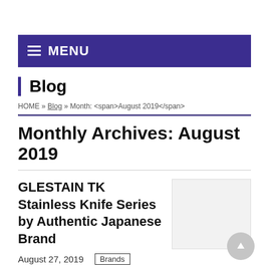MENU
Blog
HOME » Blog » Month: <span>August 2019</span>
Monthly Archives: August 2019
GLESTAIN TK Stainless Knife Series by Authentic Japanese Brand
August 27, 2019  Brands
Glestain knives received an enormous
[Figure (photo): Blank/white image placeholder for article thumbnail]